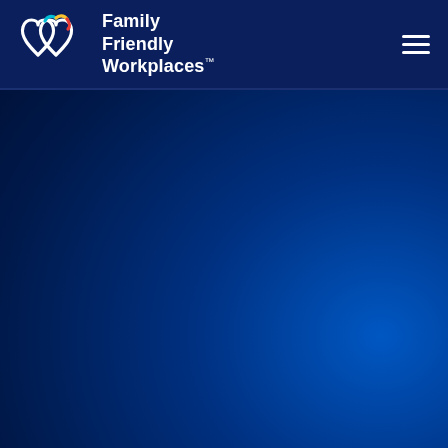[Figure (logo): Family Friendly Workplaces logo with two interlocking heart outlines in white, with a colorful (teal, yellow, red) accent on top right heart, beside the text 'Family Friendly Workplaces™' in white bold font, on a dark navy background header bar with a hamburger menu icon on the right.]
[Figure (photo): Dark navy blue background with a radial gradient glowing bright blue (royal blue) light emanating from the lower right area, fading to very dark navy blue / near black on the left and upper areas. No text or other elements in the main body.]